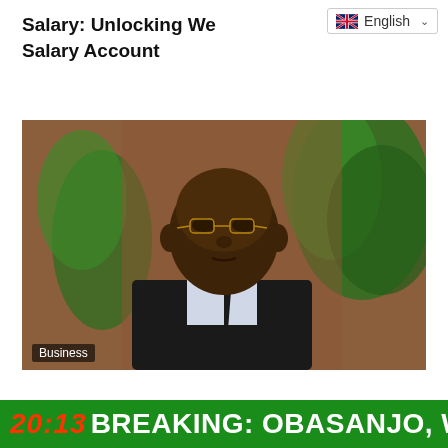Salary: Unlocking We... Salary Account
[Figure (photo): A man wearing glasses and a dark suit speaking at what appears to be a press event, with green plants in the background. A 'Business' label appears in the lower left corner of the image.]
Business
20:13 BREAKING: OBASANJO, WI